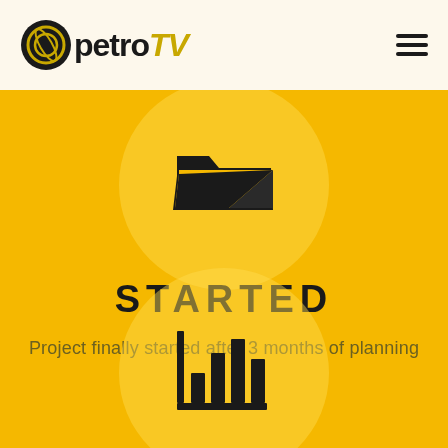petro TV
[Figure (illustration): Open folder icon in black on a circular translucent yellow background]
STARTED
Project finally started after 3 months of planning
[Figure (illustration): Bar chart icon in black on a circular translucent yellow background]